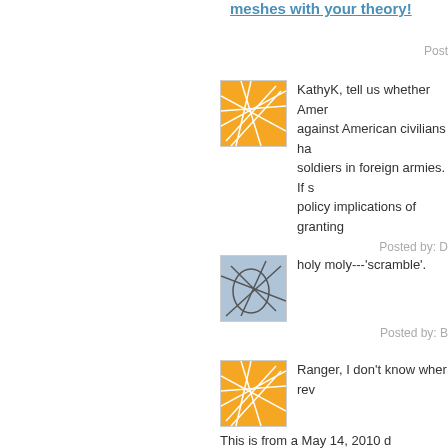meshes with your theory!
Posted by:
[Figure (illustration): Orange avatar with white intersecting lines pattern]
KathyK, tell us whether Amer against American civilians ha soldiers in foreign armies. If s policy implications of granting
Posted by: D
[Figure (illustration): Blue-gray avatar with dark intersecting lines pattern]
holy moly---'scramble'.
Posted by: B
[Figure (illustration): Orange avatar with white intersecting lines pattern]
Ranger, I don't know wher rev
This is from a May 14, 2010 d
"Revoking the citizenship of A born, presents a more compli 1940 statute that is still in fore citizens who serve in a foreig swear allegiance to, hold offic expressly renounce their citiz